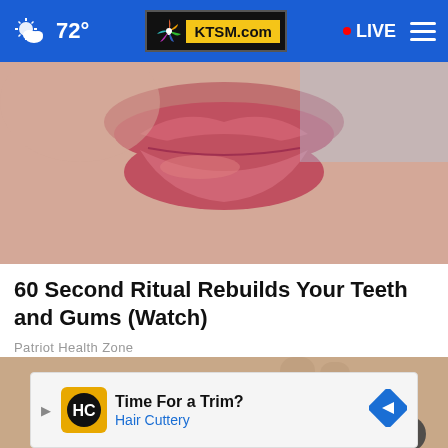72° KTSM.com LIVE
[Figure (photo): Close-up photo of a person's lips, slightly parted, with pink-red lipstick, chin visible below]
60 Second Ritual Rebuilds Your Teeth and Gums (Watch)
Patriot Health Zone
[Figure (photo): Close-up photo of a hand holding several cashew nuts on a light background]
[Figure (other): Advertisement banner: Time For a Trim? Hair Cuttery, with Hair Cuttery logo and navigation arrow icon]